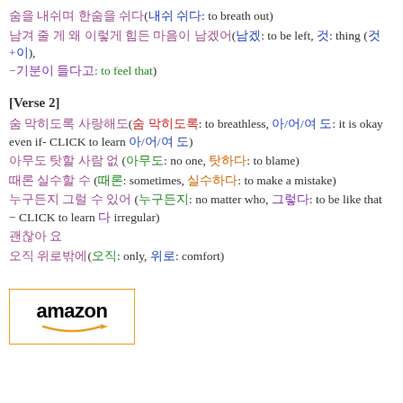숨을 내쉬며 한숨을 쉬다(내쉬 쉬다: to breath out)
남겨 줄 게 왜 이렇게 힘든 마음이 남겠어(남겠: to be left, 것: thing (것+이), −기분이 들다고: to feel that)
[Verse 2]
숨 막히도록 사랑해도(숨 막히도록: to breathless, 아/어/여 도: it is okay even if- CLICK to learn 아/어/여 도)
아무도 탓할 사람 없 (아무도: no one, 탓하다: to blame)
때론 실수할 수 (때론: sometimes, 실수하다: to make a mistake)
누구든지 그럴 수 있어 (누구든지: no matter who, 그렇다: to be like that − CLICK to learn 다 irregular)
괜찮아 요
오직 위로밖에(오직: only, 위로: comfort)
[Figure (logo): Amazon logo with orange arrow]